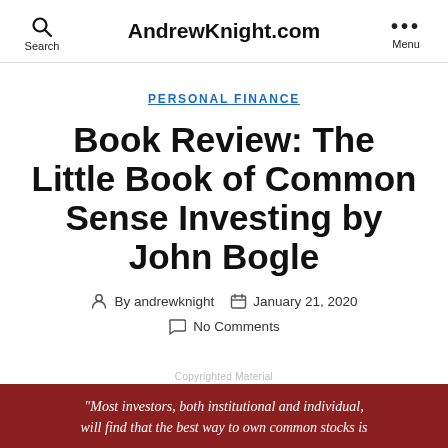AndrewKnight.com
PERSONAL FINANCE
Book Review: The Little Book of Common Sense Investing by John Bogle
By andrewknight  January 21, 2020  No Comments
"Most investors, both institutional and individual, will find that the best way to own common stocks is